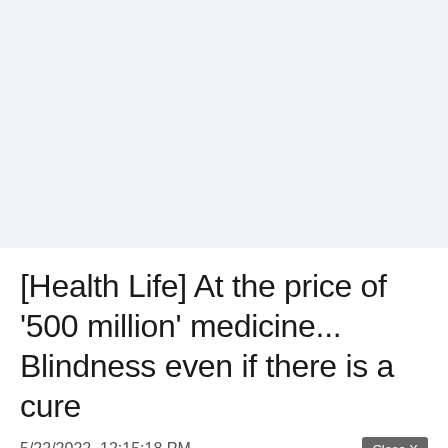[Figure (other): Gray advertisement / banner placeholder area at the top of the page]
[Health Life] At the price of '500 million' medicine... Blindness even if there is a cure
5/22/2022, 12:15:18 PM